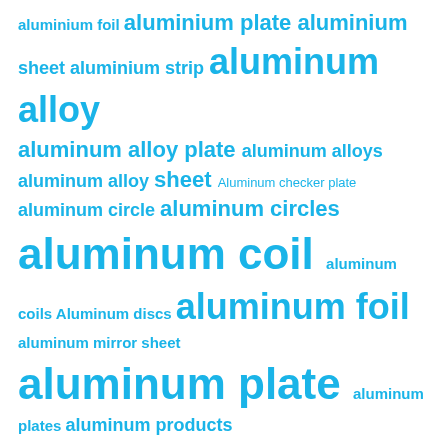[Figure (infographic): Word cloud of aluminum/aluminium product terms in cyan/blue color on white background, with varying font sizes indicating frequency/importance. Terms include: aluminium foil, aluminium plate, aluminium sheet, aluminium strip, aluminum alloy, aluminum alloy plate, aluminum alloys, aluminum alloy sheet, Aluminum checker plate, aluminum circle, aluminum circles, aluminum coil, aluminum coils, Aluminum discs, aluminum foil, aluminum mirror sheet, aluminum plate, aluminum plates, aluminum products, Aluminum sheet, Aluminum sheets, aluminum strip, aluminum strips, aluminum tread plate, checker plate, coated aluminum coil, Color Coated Aluminum, diamond plate, marine aluminum plate, mirror aluminum sheet, polished aluminum sheet]